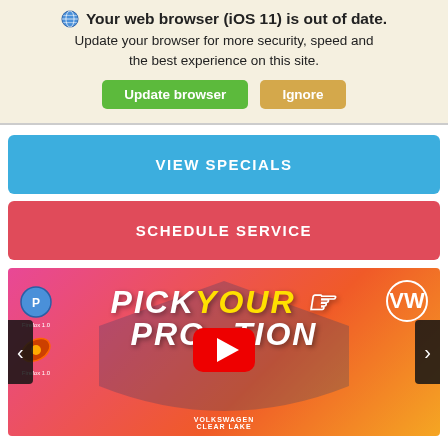🌐 Your web browser (iOS 11) is out of date. Update your browser for more security, speed and the best experience on this site. [Update browser] [Ignore]
VIEW SPECIALS
SCHEDULE SERVICE
[Figure (screenshot): Video banner showing 'PICK YOUR PROMOTION' text on a pink-to-orange gradient background with a YouTube play button overlay, VW logo in top right, navigation arrows on left and right, and 'VOLKSWAGEN CLEAR LAKE' text at bottom center. Small icons on the left side.]